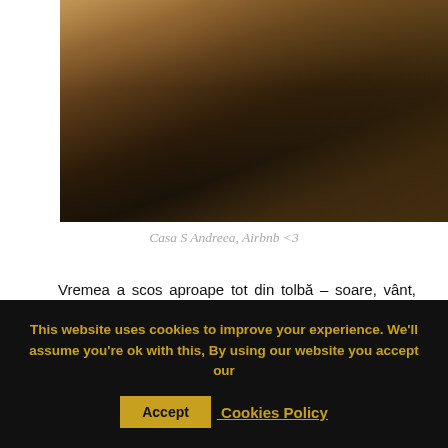[Figure (photo): A dark, moody interior photo showing a concrete or stone surface, likely a table or shelf, in warm amber and dark brown tones, partially lit.]
Casa S Andreea, Airbnb <3
Vremea a scos aproape tot din tolbă – soare, vânt, ploaie, nori, însă totul era superb. Lucca e un orășel micuț în Toscana, unde simțeai la tot pasul că se meșteșugea câte ceva: un magazin artizanal de pantofi, tăbăcărie, restaurare de mobilier, ceramică artizanală, gastronomie toscanā.
This website uses cookies to improve your experience. We'll assume you're ok with this, By using our website you accept our Accept Cookies Policy